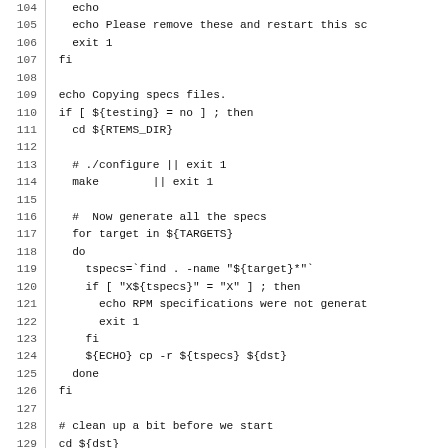104   echo
105   echo Please remove these and restart this sc
106   exit 1
107 fi
108 
109 echo Copying specs files.
110 if [ ${testing} = no ] ; then
111   cd ${RTEMS_DIR}
112 
113   # ./configure || exit 1
114   make        || exit 1
115 
116   #  Now generate all the specs
117   for target in ${TARGETS}
118   do
119     tspecs=`find . -name "${target}*"`
120     if [ "X${tspecs}" = "X" ] ; then
121       echo RPM specifications were not generat
122       exit 1
123     fi
124     ${ECHO} cp -r ${tspecs} ${dst}
125   done
126 fi
127 
128 # clean up a bit before we start
129 cd ${dst}
130 test -d log || mkdir log
131 
132 #  do all the tools
133 for target in ${TARGETS}